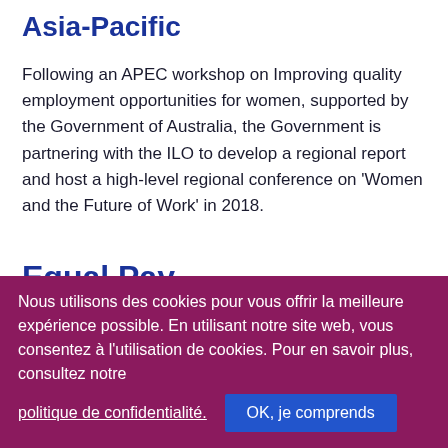Asia-Pacific
Following an APEC workshop on Improving quality employment opportunities for women, supported by the Government of Australia, the Government is partnering with the ILO to develop a regional report and host a high-level regional conference on 'Women and the Future of Work' in 2018.
Equal Pay
The Equal Pay International Coalition
Nous utilisons des cookies pour vous offrir la meilleure expérience possible. En utilisant notre site web, vous consentez à l'utilisation de cookies. Pour en savoir plus, consultez notre politique de confidentialité.